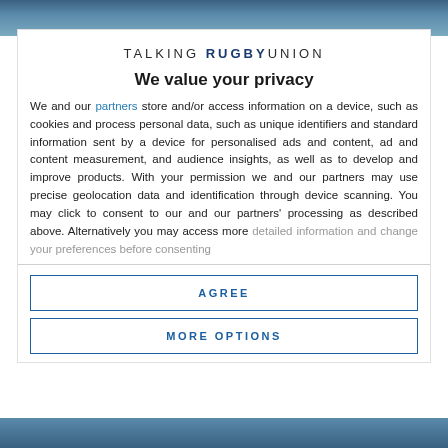[Figure (photo): Top portion of a rugby photo, blurred background showing players]
TALKING RUGBY UNION
We value your privacy
We and our partners store and/or access information on a device, such as cookies and process personal data, such as unique identifiers and standard information sent by a device for personalised ads and content, ad and content measurement, and audience insights, as well as to develop and improve products. With your permission we and our partners may use precise geolocation data and identification through device scanning. You may click to consent to our and our partners' processing as described above. Alternatively you may access more detailed information and change your preferences before consenting
AGREE
MORE OPTIONS
[Figure (photo): Bottom portion of a rugby photo, blurred background showing players]